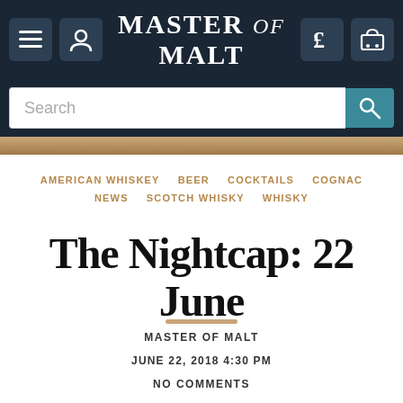Master of Malt
Search
AMERICAN WHISKEY  BEER  COCKTAILS  COGNAC  NEWS  SCOTCH WHISKY  WHISKY
The Nightcap: 22 June
MASTER OF MALT
JUNE 22, 2018 4:30 PM
NO COMMENTS